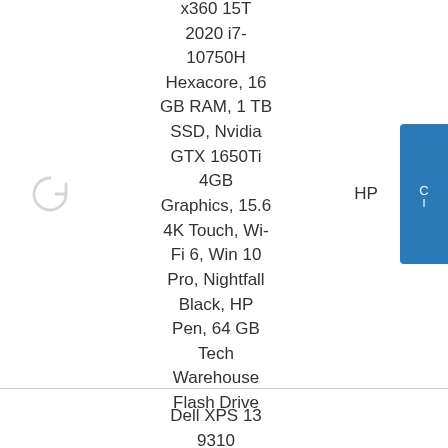HP Spectre x360 15T 2020 i7-10750H Hexacore, 16 GB RAM, 1 TB SSD, Nvidia GTX 1650Ti 4GB Graphics, 15.6 4K Touch, Wi-Fi 6, Win 10 Pro, Nightfall Black, HP Pen, 64 GB Tech Warehouse Flash Drive
HP
Dell XPS 13 9310